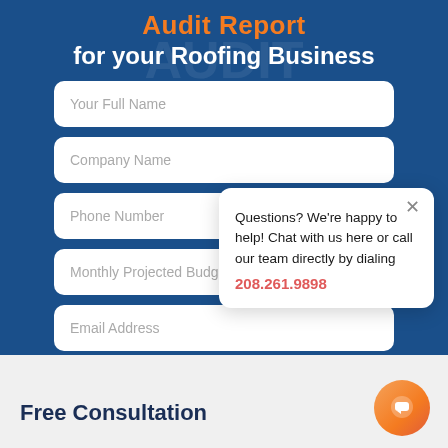Audit Report for your Roofing Business
Your Full Name
Company Name
Phone Number
Monthly Projected Budget
Email Address
Questions? We're happy to help! Chat with us here or call our team directly by dialing 208.261.9898
Free Consultation